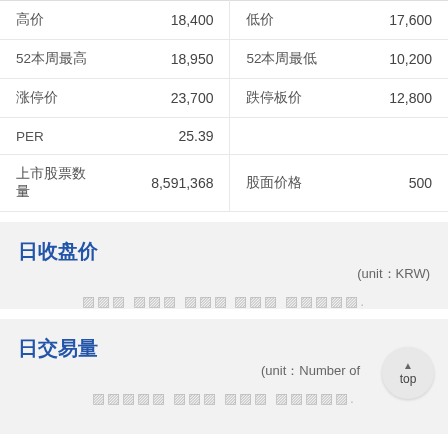| 高价 | 18,400 | 低价 | 17,600 |
| 52本周最高 | 18,950 | 52本周最低 | 10,200 |
| 涨停价 | 23,700 | 跌停板价 | 12,800 |
| PER | 25.39 |  |  |
| 上市股票数量 | 8,591,368 | 股面价格 | 500 |
日收盘价
(unit：KRW)
▨▨▨ ▨▨▨ ▨▨▨ ▨▨▨ ▨▨▨▨▨.
日交易量
(unit：Number of)
▨▨▨▨▨ ▨▨▨ ▨▨▨ ▨▨▨▨▨.